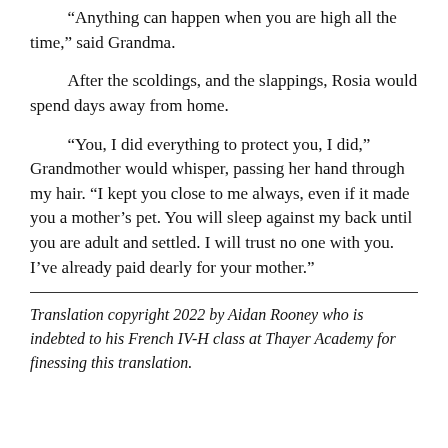“Anything can happen when you are high all the time,” said Grandma.
After the scoldings, and the slappings, Rosia would spend days away from home.
“You, I did everything to protect you, I did,” Grandmother would whisper, passing her hand through my hair. “I kept you close to me always, even if it made you a mother’s pet. You will sleep against my back until you are adult and settled. I will trust no one with you. I’ve already paid dearly for your mother.”
Translation copyright 2022 by Aidan Rooney who is indebted to his French IV-H class at Thayer Academy for finessing this translation.